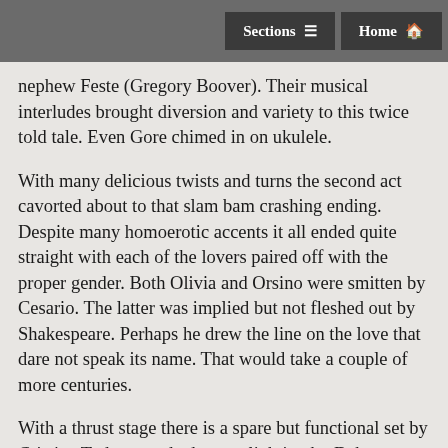Sections  Home
nephew Feste (Gregory Boover). Their musical interludes brought diversion and variety to this twice told tale. Even Gore chimed in on ukulele.
With many delicious twists and turns the second act cavorted about to that slam bam crashing ending. Despite many homoerotic accents it all ended quite straight with each of the lovers paired off with the proper gender. Both Olivia and Orsino were smitten by Cesario. The latter was implied but not fleshed out by Shakespeare. Perhaps he drew the line on the love that dare not speak its name. That would take a couple of more centuries.
With a thrust stage there is a spare but functional set by Cristina Todesco and adequate lighting by Deb Sullivan. Typically, the